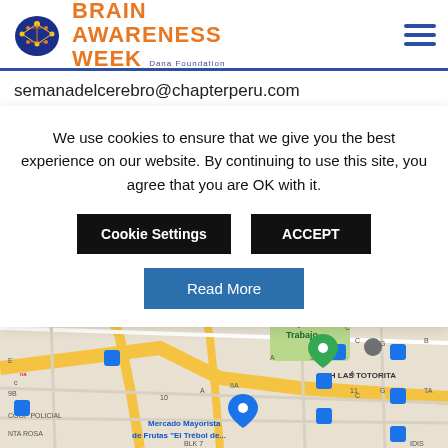[Figure (logo): Brain Awareness Week Dana Foundation logo with brain graphic and orange text]
semanadelcerebro@chapterperu.com
We use cookies to ensure that we give you the best experience on our website. By continuing to use this site, you agree that you are OK with it.
Cookie Settings
ACCEPT
Read More
[Figure (map): Google Maps screenshot showing area in Lima, Peru including Parque del Trabajo, Mercado Mayorista de Frutas El Trebol, AH Las Totorita, COOP Policial, plazaVea Rimac Alcazar Televiso, with bus stop icons and street labels]